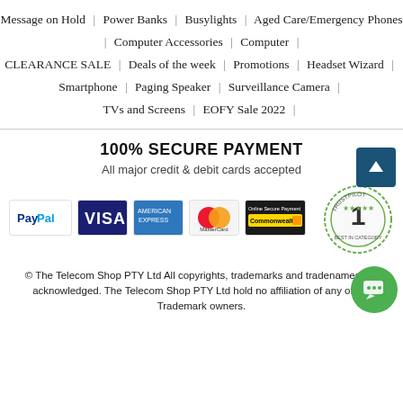Message on Hold | Power Banks | Busylights | Aged Care/Emergency Phones | Computer Accessories | Computer | CLEARANCE SALE | Deals of the week | Promotions | Headset Wizard | Smartphone | Paging Speaker | Surveillance Camera | TVs and Screens | EOFY Sale 2022 |
100% SECURE PAYMENT
All major credit & debit cards accepted
[Figure (logo): Payment method logos: PayPal, Visa, American Express, MasterCard, Commonwealth Bank Online Secure Payment]
[Figure (logo): Trustpilot badge: #1 Best in Category]
© The Telecom Shop PTY Ltd All copyrights, trademarks and tradenames are acknowledged. The Telecom Shop PTY Ltd hold no affiliation of any of the Trademark owners.